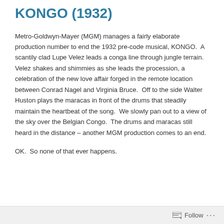KONGO (1932)
Metro-Goldwyn-Mayer (MGM) manages a fairly elaborate production number to end the 1932 pre-code musical, KONGO.  A scantily clad Lupe Velez leads a conga line through jungle terrain.  Velez shakes and shimmies as she leads the procession, a celebration of the new love affair forged in the remote location between Conrad Nagel and Virginia Bruce.  Off to the side Walter Huston plays the maracas in front of the drums that steadily maintain the heartbeat of the song.  We slowly pan out to a view of the sky over the Belgian Congo.  The drums and maracas still heard in the distance – another MGM production comes to an end.
OK.  So none of that ever happens.
Follow ···